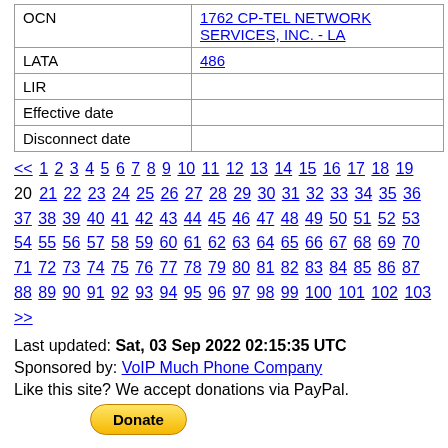| Field | Value |
| --- | --- |
| OCN | 1762 CP-TEL NETWORK SERVICES, INC. - LA |
| LATA | 486 |
| LIR |  |
| Effective date |  |
| Disconnect date |  |
<< 1 2 3 4 5 6 7 8 9 10 11 12 13 14 15 16 17 18 19 20 21 22 23 24 25 26 27 28 29 30 31 32 33 34 35 36 37 38 39 40 41 42 43 44 45 46 47 48 49 50 51 52 53 54 55 56 57 58 59 60 61 62 63 64 65 66 67 68 69 70 71 72 73 74 75 76 77 78 79 80 81 82 83 84 85 86 87 88 89 90 91 92 93 94 95 96 97 98 99 100 101 102 103 >>
Last updated: Sat, 03 Sep 2022 02:15:35 UTC
Sponsored by: VoIP Much Phone Company
Like this site? We accept donations via PayPal.
[Figure (other): PayPal donate button]